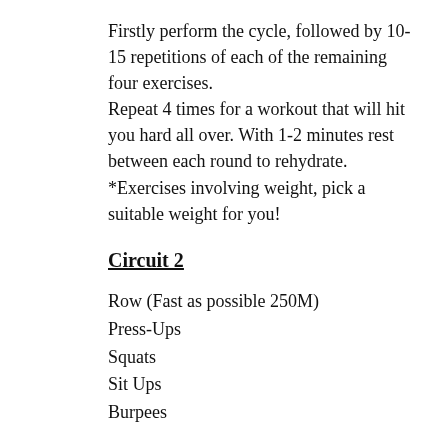Firstly perform the cycle, followed by 10-15 repetitions of each of the remaining four exercises.
Repeat 4 times for a workout that will hit you hard all over. With 1-2 minutes rest between each round to rehydrate.
*Exercises involving weight, pick a suitable weight for you!
Circuit 2
Row (Fast as possible 250M)
Press-Ups
Squats
Sit Ups
Burpees
Start out on the rowing machine, followed by the remaining four exercises! Perform 10 reps of